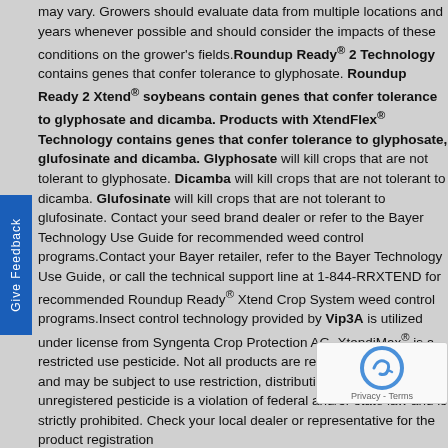may vary. Growers should evaluate data from multiple locations and years whenever possible and should consider the impacts of these conditions on the grower's fields. Roundup Ready® 2 Technology contains genes that confer tolerance to glyphosate. Roundup Ready 2 Xtend® soybeans contain genes that confer tolerance to glyphosate and dicamba. Products with XtendFlex® Technology contains genes that confer tolerance to glyphosate, glufosinate and dicamba. Glyphosate will kill crops that are not tolerant to glyphosate. Dicamba will kill crops that are not tolerant to dicamba. Glufosinate will kill crops that are not tolerant to glufosinate. Contact your seed brand dealer or refer to the Bayer Technology Use Guide for recommended weed control programs. Contact your Bayer retailer, refer to the Bayer Technology Use Guide, or call the technical support line at 1-844-RRXTEND for recommended Roundup Ready® Xtend Crop System weed control programs. Insect control technology provided by Vip3A is utilized under license from Syngenta Crop Protection AG. XtendiMax® is a restricted use pesticide. Not all products are registered in all states and may be subject to use restrictions, distribution, sale, or use of an unregistered pesticide is a violation of federal and/or state law and is strictly prohibited. Check your local dealer or representative for the product registration